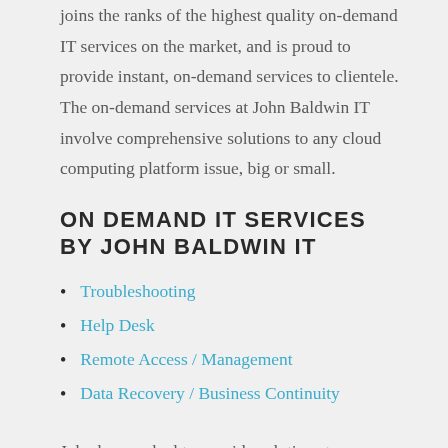joins the ranks of the highest quality on-demand IT services on the market, and is proud to provide instant, on-demand services to clientele. The on-demand services at John Baldwin IT involve comprehensive solutions to any cloud computing platform issue, big or small.
ON DEMAND IT SERVICES BY JOHN BALDWIN IT
Troubleshooting
Help Desk
Remote Access / Management
Data Recovery / Business Continuity
John has worked to provide solutions to problems that other engineers were unable